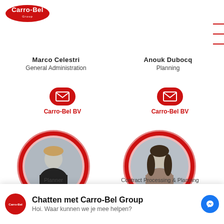[Figure (logo): Carro-Bel Group logo, red oval with white text]
Marco Celestri
General Administration
Anouk Dubocq
Planning
[Figure (illustration): Red rounded rectangle email/envelope icon button with label Carro-Bel BV underneath (for Marco Celestri)]
[Figure (illustration): Red rounded rectangle email/envelope icon button with label Carro-Bel BV underneath (for Anouk Dubocq)]
[Figure (photo): Circular portrait photo of a woman with short blonde hair wearing black, with red circular border and red glow]
[Figure (photo): Circular portrait photo of a woman with long dark hair wearing grey/brown jacket, with red circular border and red glow]
Planner
Contract Processing & Planning
[Figure (other): Chat widget bar: Chatten met Carro-Bel Group, with Carro-Bel logo and Facebook Messenger icon. Subtitle: Hoi. Waar kunnen we je mee helpen?]